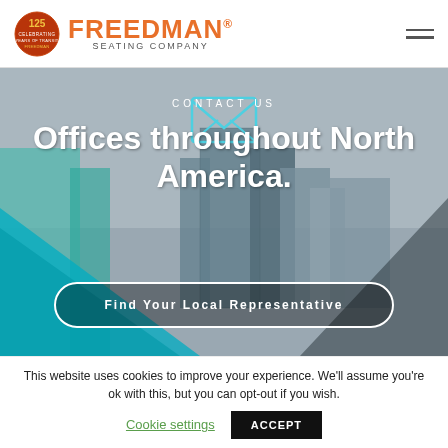[Figure (logo): Freedman Seating Company logo with 125th anniversary badge and orange FREEDMAN® wordmark]
[Figure (photo): Hero banner showing city skyline with CONTACT US label, headline 'Offices throughout North America.' and a 'Find Your Local Representative' CTA button, with teal geometric overlay]
This website uses cookies to improve your experience. We'll assume you're ok with this, but you can opt-out if you wish.
Cookie settings
ACCEPT